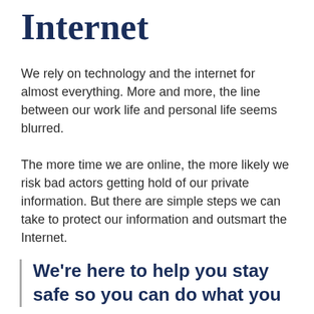Internet
We rely on technology and the internet for almost everything. More and more, the line between our work life and personal life seems blurred.
The more time we are online, the more likely we risk bad actors getting hold of our private information. But there are simple steps we can take to protect our information and outsmart the Internet.
We're here to help you stay safe so you can do what you